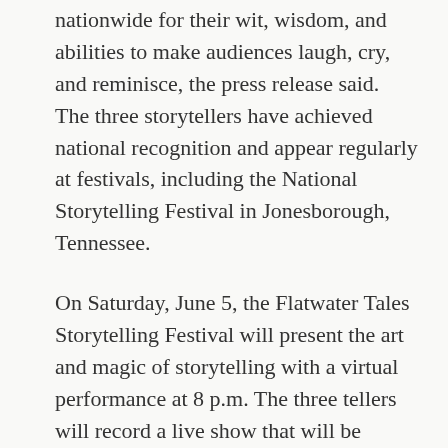nationwide for their wit, wisdom, and abilities to make audiences laugh, cry, and reminisce, the press release said. The three storytellers have achieved national recognition and appear regularly at festivals, including the National Storytelling Festival in Jonesborough, Tennessee.
On Saturday, June 5, the Flatwater Tales Storytelling Festival will present the art and magic of storytelling with a virtual performance at 8 p.m. The three tellers will record a live show that will be performed before a small audience exclusively for Flatwater Tales. This performance will include an unrehearsed improvisation segment, hosted by emcee Paula Gordon Lepp, a new feature in the storytelling world, the press release said.